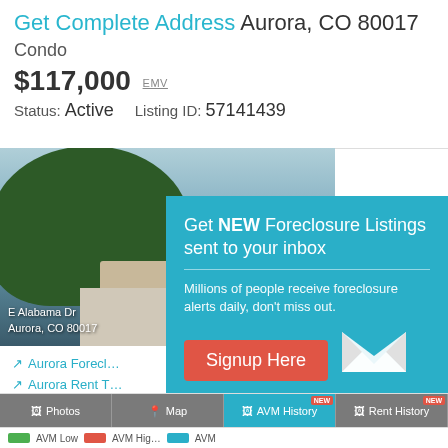Get Complete Address Aurora, CO 80017
Condo
$117,000 EMV
Status: Active   Listing ID: 57141439
[Figure (photo): Exterior photo of a condo property with trees in foreground, showing E Alabama Dr, Aurora, CO 80017]
Get NEW Foreclosure Listings sent to your inbox
Millions of people receive foreclosure alerts daily, don't miss out.
Signup Here
No Thanks | Remind Me Later
Aurora Forecl...
Aurora Rent T...
Aurora Cheap...
Photos | Map | AVM History NEW | Rent History NEW